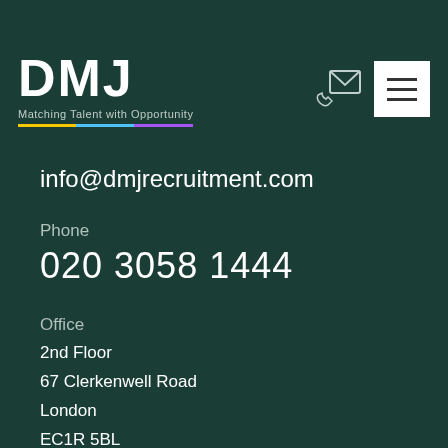[Figure (logo): DMJ logo with tagline 'Matching Talent with Opportunity' and multicolor underline bar (yellow, blue, purple)]
info@dmjrecruitment.com
Phone
020 3058 1444
Office
2nd Floor
67 Clerkenwell Road
London
EC1R 5BL